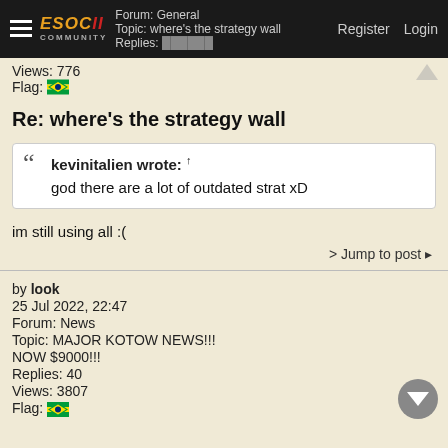Forum: General | Topic: where's the strategy wall | Replies: ... | Register | Login
Views: 776
Flag: 🇧🇷
Re: where's the strategy wall
kevinitalien wrote: ↑
god there are a lot of outdated strat xD
im still using all :(
> Jump to post ‣
by look
25 Jul 2022, 22:47
Forum: News
Topic: MAJOR KOTOW NEWS!!!
NOW $9000!!!
Replies: 40
Views: 3807
Flag: 🇧🇷